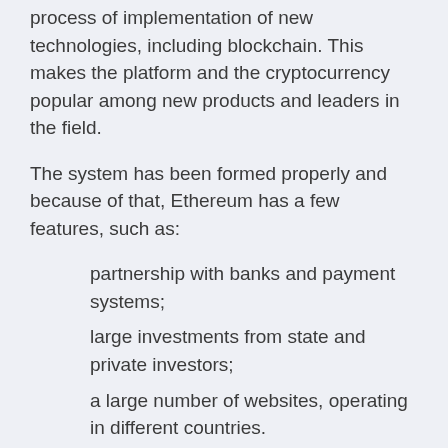process of implementation of new technologies, including blockchain. This makes the platform and the cryptocurrency popular among new products and leaders in the field.
The system has been formed properly and because of that, Ethereum has a few features, such as:
partnership with banks and payment systems;
large investments from state and private investors;
a large number of websites, operating in different countries.
Apart from the official website, there is a platform in Russian, and it's placed on a Russian server.
After Vitalik Buterin's project was established, the